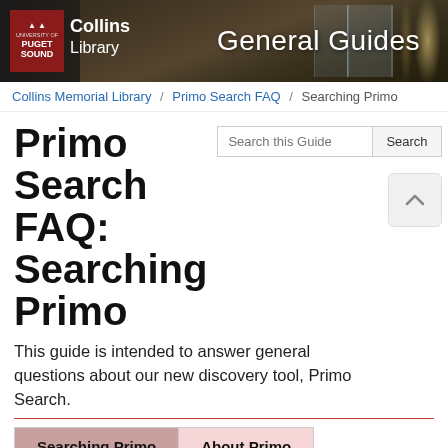[Figure (photo): University of Puget Sound Collins Library header banner with General Guides text and library building photo]
Collins Memorial Library / Primo Search FAQ / Searching Primo
Primo Search FAQ: Searching Primo
This guide is intended to answer general questions about our new discovery tool, Primo Search.
Searching Primo | About Primo
WHY SHOULD I SIGN INTO PRIMO?
When you sign into Primo, you are able to do the